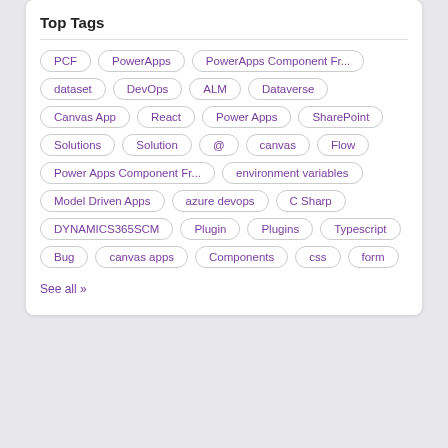Top Tags
PCF
PowerApps
PowerApps Component Fr...
dataset
DevOps
ALM
Dataverse
Canvas App
React
Power Apps
SharePoint
Solutions
Solution
@
canvas
Flow
Power Apps Component Fr...
environment variables
Model Driven Apps
azure devops
C Sharp
DYNAMICS365SCM
Plugin
Plugins
Typescript
Bug
canvas apps
Components
css
form
See all »